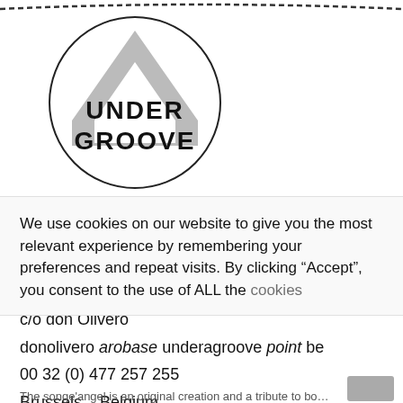[Figure (logo): Under Groove logo: circle with a grey chevron/arrow shape and bold text UNDER GROOVE]
We use cookies on our website to give you the most relevant experience by remembering your preferences and repeat visits. By clicking “Accept”, you consent to the use of ALL the cookies
c/o don Olivero
donolivero arobase underagroove point be
00 32 (0) 477 257 255
Brussels – Belgium
The songe'angel is an original creation and a tribute to both Mati